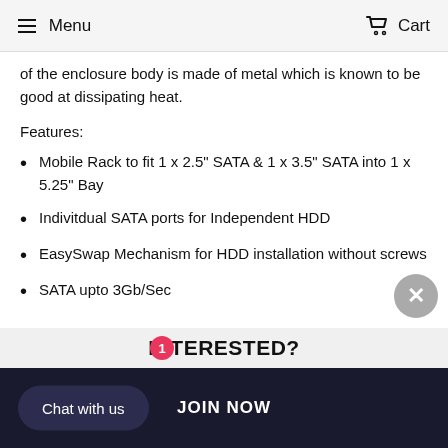Menu   Cart
of the enclosure body is made of metal which is known to be good at dissipating heat.
Features:
Mobile Rack to fit 1 x 2.5" SATA & 1 x 3.5" SATA into 1 x 5.25" Bay
Indivitdual SATA ports for Independent HDD
EasySwap Mechanism for HDD installation without screws
SATA upto 3Gb/Sec
INTERESTED?
Chat with us   JOIN NOW